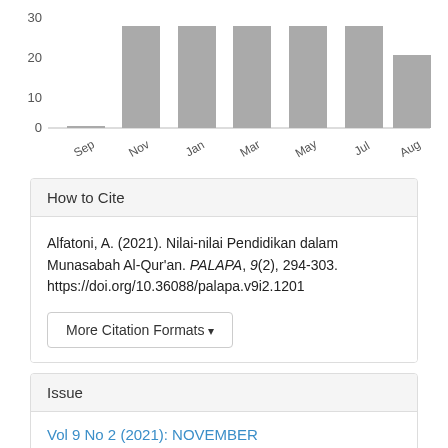[Figure (bar-chart): Monthly article views]
How to Cite
Alfatoni, A. (2021). Nilai-nilai Pendidikan dalam Munasabah Al-Qur'an. PALAPA, 9(2), 294-303. https://doi.org/10.36088/palapa.v9i2.1201
More Citation Formats
Issue
Vol 9 No 2 (2021): NOVEMBER
Section